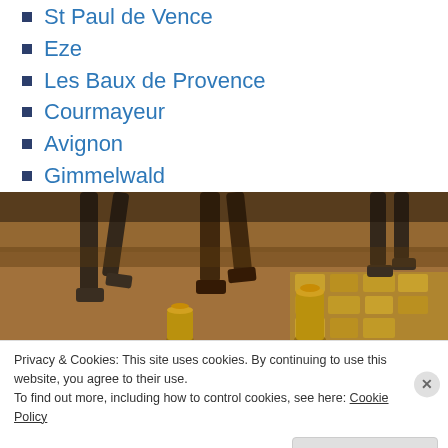St Paul de Vence (partial, cropped at top)
Eze
Les Baux de Provence
Courmayeur
Avignon
Gimmelwald
[Figure (photo): Street-level photo showing legs and feet of pedestrians walking on cobblestone pavement with warm golden lighting]
Privacy & Cookies: This site uses cookies. By continuing to use this website, you agree to their use.
To find out more, including how to control cookies, see here: Cookie Policy
Close and accept